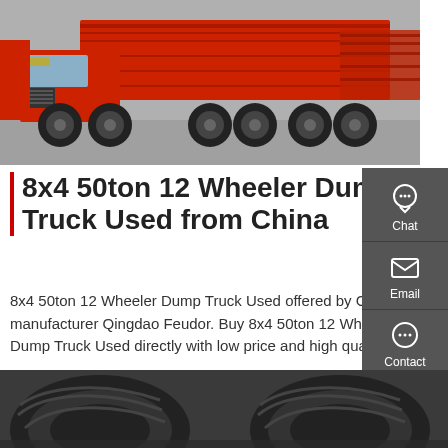[Figure (photo): Red dump trucks (8x4 12-wheeler) parked in a lot, viewed from a low angle. Trucks are large, red-cabbed vehicles with grey/black chassis.]
8x4 50ton 12 Wheeler Dump Truck Used from China
8x4 50ton 12 Wheeler Dump Truck Used offered by China manufacturer Qingdao Feudor. Buy 8x4 50ton 12 Wheeler Dump Truck Used directly with low price and high quality.
Get a Quote
[Figure (photo): Close-up view of large truck tires on pavement, showing tread detail.]